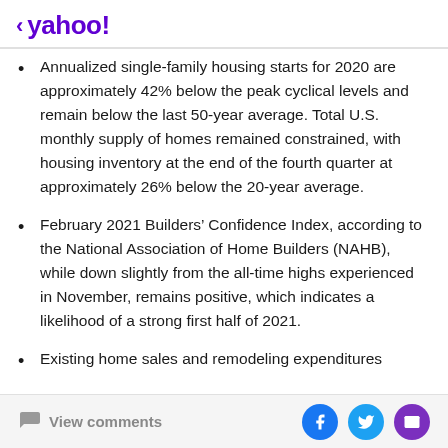< yahoo!
Annualized single-family housing starts for 2020 are approximately 42% below the peak cyclical levels and remain below the last 50-year average. Total U.S. monthly supply of homes remained constrained, with housing inventory at the end of the fourth quarter at approximately 26% below the 20-year average.
February 2021 Builders’ Confidence Index, according to the National Association of Home Builders (NAHB), while down slightly from the all-time highs experienced in November, remains positive, which indicates a likelihood of a strong first half of 2021.
Existing home sales and remodeling expenditures
View comments